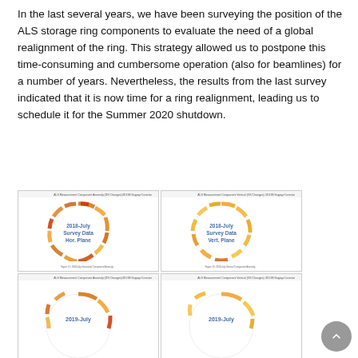In the last several years, we have been surveying the position of the ALS storage ring components to evaluate the need of a global realignment of the ring. This strategy allowed us to postpone this time-consuming and cumbersome operation (also for beamlines) for a number of years. Nevertheless, the results from the last survey indicated that it is now time for a ring realignment, leading us to schedule it for the Summer 2020 shutdown.
[Figure (other): Circular ring diagram showing 2018-July Survey Data Horizontal Plane - colored arc segments representing ALS storage ring component positions]
[Figure (other): Circular ring diagram showing 2018-July Survey Data Vertical Plane - colored arc segments representing ALS storage ring component positions]
[Figure (other): Circular ring diagram showing 2019-July Survey Data (partial) - Horizontal Plane]
[Figure (other): Circular ring diagram showing 2019-July Survey Data (partial) - Vertical Plane]